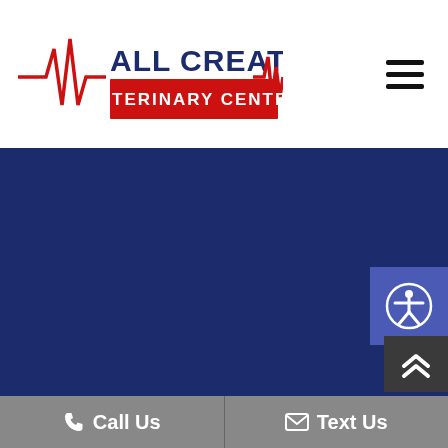[Figure (logo): All Creatures Veterinary Center logo with heartbeat line in red, text ALL CREATURES in navy blue, VETERINARY CENTER in white on red background]
[Figure (other): Hamburger menu icon (three horizontal black lines)]
[Figure (other): Dark navy blue background section filling middle of page]
[Figure (other): Accessibility icon button - purple square with person in circle icon]
[Figure (other): Scroll to top button - dark grey square with double up chevron arrows in white]
Call Us
Text Us